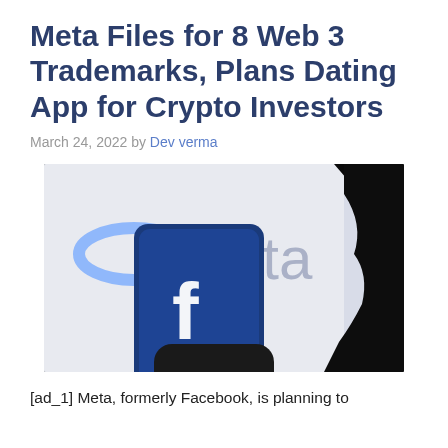Meta Files for 8 Web 3 Trademarks, Plans Dating App for Crypto Investors
March 24, 2022 by Dev verma
[Figure (photo): A hand holding a smartphone with the Facebook 'f' logo against a blurred background showing the Meta logo and text 'Meta'. A dark silhouette profile is visible on the right.]
[ad_1] Meta, formerly Facebook, is planning to